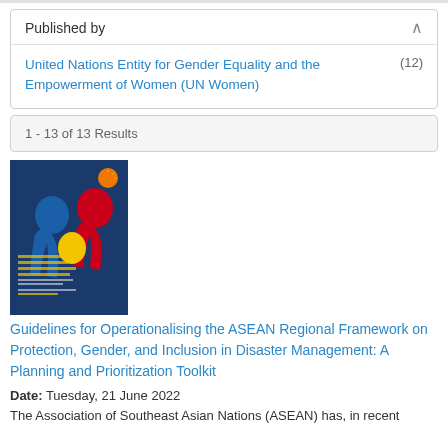Published by
United Nations Entity for Gender Equality and the Empowerment of Women (UN Women) (12)
1 - 13 of 13 Results
[Figure (illustration): Book cover showing silhouettes of human figures in red, blue, and yellow with text about Protection, Gender, and Inclusion in Disaster Management]
Guidelines for Operationalising the ASEAN Regional Framework on Protection, Gender, and Inclusion in Disaster Management: A Planning and Prioritization Toolkit
Date: Tuesday, 21 June 2022
The Association of Southeast Asian Nations (ASEAN) has, in recent